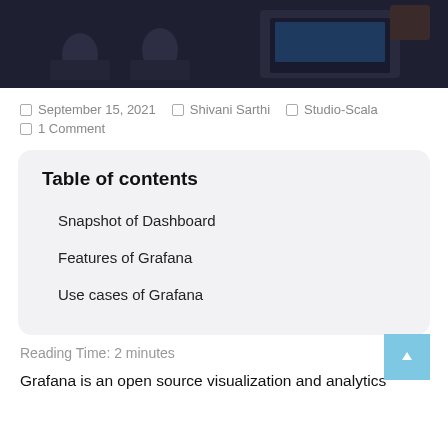[Figure (photo): Dark background photo showing people at computers/laptops in a dimly lit room]
September 15, 2021  Shivani Sarthi  Studio-Scala  1 Comment
Table of contents
Snapshot of Dashboard
Features of Grafana
Use cases of Grafana
Reading Time: 2 minutes
Grafana is an open source visualization and analytics